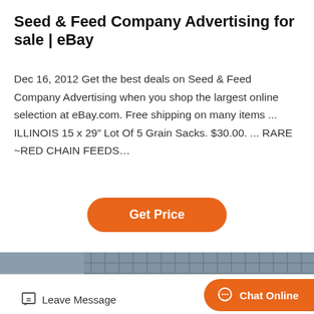Seed & Feed Company Advertising for sale | eBay
Dec 16, 2012 Get the best deals on Seed & Feed Company Advertising when you shop the largest online selection at eBay.com. Free shipping on many items ... ILLINOIS 15 x 29” Lot Of 5 Grain Sacks. $30.00. ... RARE ~RED CHAIN FEEDS…
[Figure (other): Orange rounded button labeled 'Get Price']
[Figure (photo): Industrial equipment - multiple grey metal grain/feed hoppers or scoops lined up outdoors near a brick wall and metal fence, with orange interior surfaces visible]
[Figure (other): Footer bar with 'Leave Message' link on left (pencil/paper icon) and orange 'Chat Online' button on right (speech bubble icon)]